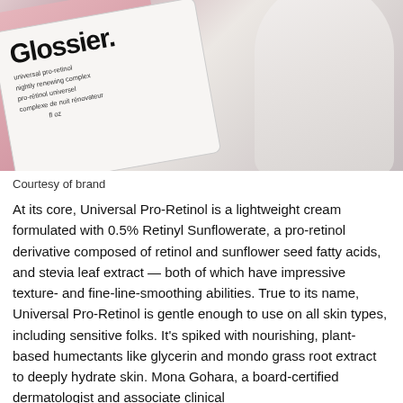[Figure (photo): Photo of Glossier Universal Pro-Retinol product bottles — a pink bottle and a white round bottle with the Glossier label visible, showing 'universal pro-retinol' and 'nightly renewing complex' text on the label.]
Courtesy of brand
At its core, Universal Pro-Retinol is a lightweight cream formulated with 0.5% Retinyl Sunflowerate, a pro-retinol derivative composed of retinol and sunflower seed fatty acids, and stevia leaf extract — both of which have impressive texture- and fine-line-smoothing abilities. True to its name, Universal Pro-Retinol is gentle enough to use on all skin types, including sensitive folks. It's spiked with nourishing, plant-based humectants like glycerin and mondo grass root extract to deeply hydrate skin. Mona Gohara, a board-certified dermatologist and associate clinical